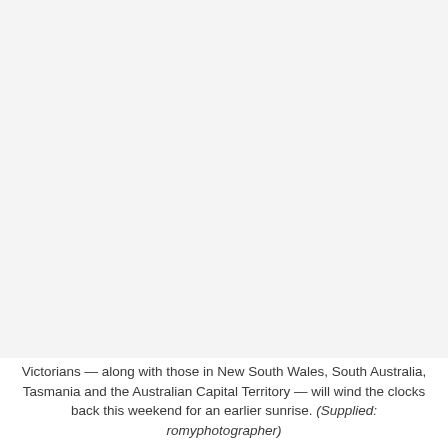[Figure (photo): A largely blank/empty photograph with a light grey background, representing an image placeholder or a faded photo.]
Victorians — along with those in New South Wales, South Australia, Tasmania and the Australian Capital Territory — will wind the clocks back this weekend for an earlier sunrise. (Supplied: romyphotographer)